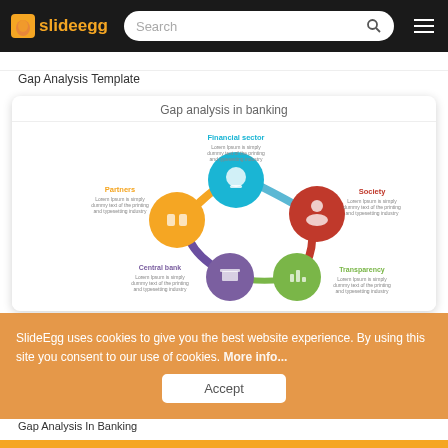slideegg | Search | [hamburger menu]
Gap Analysis Template
[Figure (infographic): Gap analysis in banking infographic showing interconnected circles: Financial sector (cyan/blue, top), Partners (gold/yellow, left), Society (red, right), Central bank (purple, bottom-left), Transparency (green, bottom-right). Each circle has an icon and placeholder lorem ipsum text.]
SlideEgg uses cookies to give you the best website experience. By using this site you consent to our use of cookies. More info...
Gap Analysis In Banking
Accept